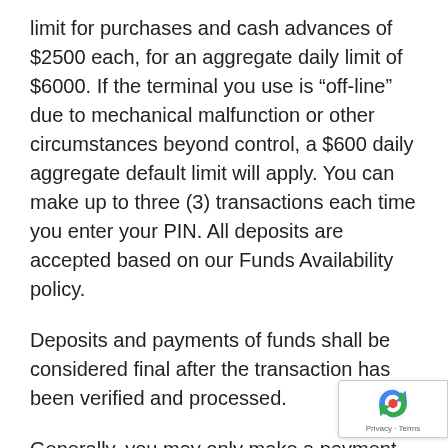limit for purchases and cash advances of $2500 each, for an aggregate daily limit of $6000. If the terminal you use is “off-line” due to mechanical malfunction or other circumstances beyond control, a $600 daily aggregate default limit will apply. You can make up to three (3) transactions each time you enter your PIN. All deposits are accepted based on our Funds Availability policy.
Deposits and payments of funds shall be considered final after the transaction has been verified and processed.
Generally, you may only make a payment or cash withdrawal of funds that have been on deposit in the account being charged with the withdrawal for at least one full business day prior to the date of withdrawal. For shared